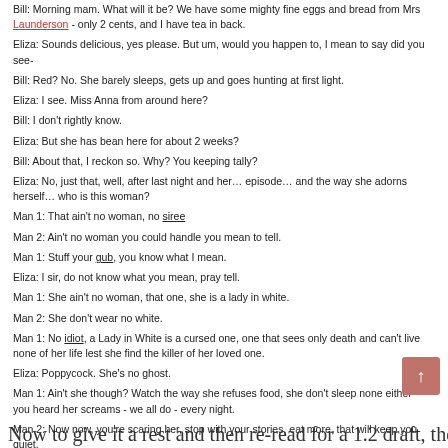Bill: Morning mam. What will it be? We have some mighty fine eggs and bread from Mrs Launderson - only 2 cents, and I have tea in back.
Eliza: Sounds delicious, yes please. But um, would you happen to, I mean to say did you see-
Bill: Red? No. She barely sleeps, gets up and goes hunting at first light.
Eliza: I see. Miss Anna from around here?
Bill: I don't rightly know.
Eliza: But she has bean here for about 2 weeks?
Bill: About that, I reckon so. Why? You keeping tally?
Eliza: No, just that, well, after last night and her... episode... and the way she adorns herself... who is this woman?
Man 1: That ain't no woman, no siree
Man 2: Ain't no woman you could handle you mean to tell.
Man 1: Stuff your gub, you know what I mean.
Eliza: I sir, do not know what you mean, pray tell.
Man 1: She ain't no woman, that one, she is a lady in white.
Man 2: She don't wear no white.
Man 1: No idiot, a Lady in White is a cursed one, one that sees only death and can't live none of her life lest she find the killer of her loved one.
Eliza: Poppycock. She's no ghost.
Man 1: Ain't she though? Watch the way she refuses food, she don't sleep none either - you heard her screams - we all do - every night.
Man 2: Now now, you're scaring her, stop with your stories, eat more, that will keep you quiet.
Now to give it a rest and then re-read for a 1.2 draft, then it's